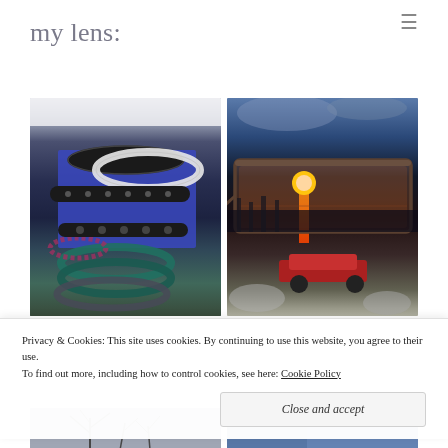my lens:
[Figure (photo): Photo of multiple bracelets and bangles arranged on a blue surface over a white fur background. Includes black studded wrap bracelets, white pearl bracelet, teal and dark colored bangle bracelets.]
[Figure (photo): Photo of eyeglasses close-up with a sunset reflection visible through the lens. The lens shows an orange sun setting over a lake with trees. A red car is partially visible in the blurred background below the glasses.]
Privacy & Cookies: This site uses cookies. By continuing to use this website, you agree to their use.
To find out more, including how to control cookies, see here: Cookie Policy
[Figure (photo): Partial view of a photo at bottom left showing bare tree branches against a gray sky.]
[Figure (photo): Partial view of a photo at bottom right showing blue tones, possibly sky or fabric.]